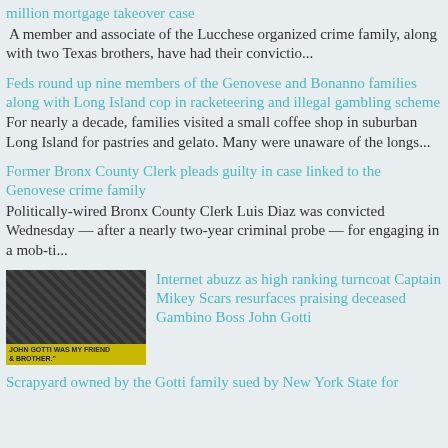million mortgage takeover case
A member and associate of the Lucchese organized crime family, along with two Texas brothers, have had their convictio...
Feds round up nine members of the Genovese and Bonanno families along with Long Island cop in racketeering and illegal gambling scheme
For nearly a decade, families visited a small coffee shop in suburban Long Island for pastries and gelato. Many were unaware of the longs...
Former Bronx County Clerk pleads guilty in case linked to the Genovese crime family
Politically-wired Bronx County Clerk Luis Diaz was convicted Wednesday — after a nearly two-year criminal probe — for engaging in a mob-ti...
[Figure (photo): Black and white photo of people with yellow banner text reading 'JOHN GOTTI WAS MY FRIEND & BROTHER.']
Internet abuzz as high ranking turncoat Captain Mikey Scars resurfaces praising deceased Gambino Boss John Gotti
Scrapyard owned by the Gotti family sued by New York State for